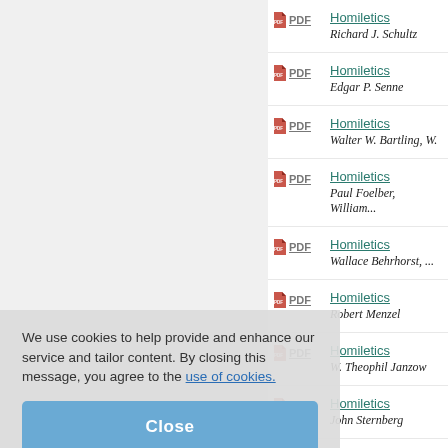PDF Homiletics
Richard J. Schultz
PDF Homiletics
Edgar P. Senne
PDF Homiletics
Walter W. Bartling, W...
PDF Homiletics
Paul Foelber, William...
PDF Homiletics
Wallace Behrhorst, ...
PDF Homiletics
Robert Menzel
PDF Homiletics
W. Theophil Janzow
PDF Homiletics
John Sternberg
PDF Homiletics
Lester E. Zeitler
We use cookies to help provide and enhance our service and tailor content. By closing this message, you agree to the use of cookies.
Close